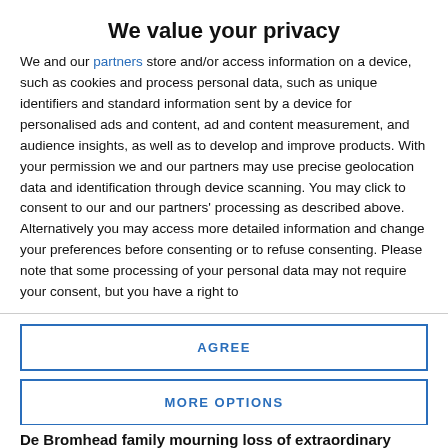We value your privacy
We and our partners store and/or access information on a device, such as cookies and process personal data, such as unique identifiers and standard information sent by a device for personalised ads and content, ad and content measurement, and audience insights, as well as to develop and improve products. With your permission we and our partners may use precise geolocation data and identification through device scanning. You may click to consent to our and our partners’ processing as described above. Alternatively you may access more detailed information and change your preferences before consenting or to refuse consenting. Please note that some processing of your personal data may not require your consent, but you have a right to
AGREE
MORE OPTIONS
De Bromhead family mourning loss of extraordinary